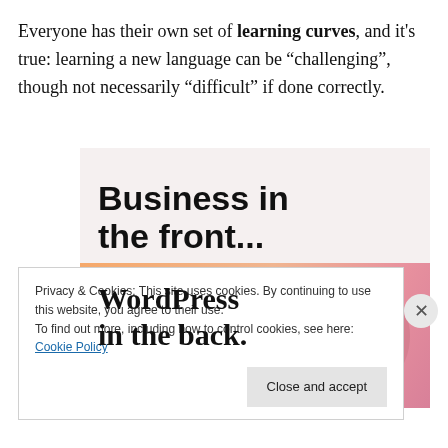Everyone has their own set of learning curves, and it’s true: learning a new language can be “challenging”, though not necessarily “difficult” if done correctly.
[Figure (illustration): An advertisement-style image split into two sections. Top section has a light pink/beige background with bold text 'Business in the front...' in black. Bottom section has an orange-to-pink gradient background with overlapping circle shapes and bold text 'WordPress in the back.' in black serif font.]
Privacy & Cookies: This site uses cookies. By continuing to use this website, you agree to their use.
To find out more, including how to control cookies, see here: Cookie Policy
Close and accept